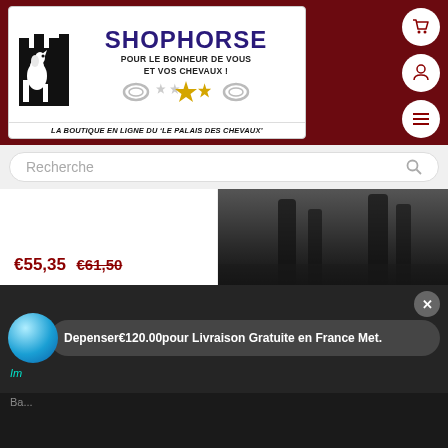[Figure (logo): ShopHorse logo with castle/chess knight icon, title 'SHOPHORSE', subtitle 'POUR LE BONHEUR DE VOUS ET VOS CHEVAUX!', decorative rings and stars, tagline 'LA BOUTIQUE EN LIGNE DU LE PALAIS DES CHEVAUX']
Recherche
€55,35  €61,50
Depenser€120.00pour Livraison Gratuite en France Met.